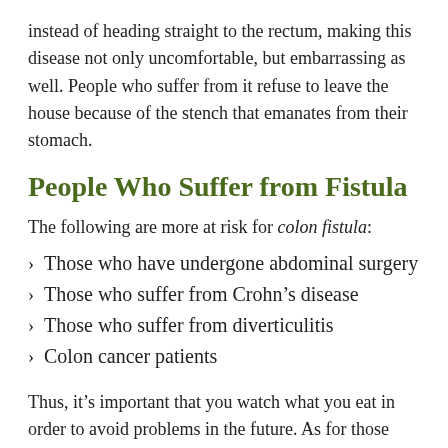instead of heading straight to the rectum, making this disease not only uncomfortable, but embarrassing as well. People who suffer from it refuse to leave the house because of the stench that emanates from their stomach.
People Who Suffer from Fistula
The following are more at risk for colon fistula:
Those who have undergone abdominal surgery
Those who suffer from Crohn’s disease
Those who suffer from diverticulitis
Colon cancer patients
Thus, it’s important that you watch what you eat in order to avoid problems in the future. As for those who suffer from Crohn’s